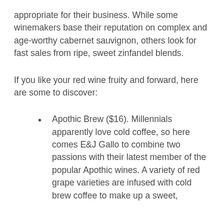appropriate for their business. While some winemakers base their reputation on complex and age-worthy cabernet sauvignon, others look for fast sales from ripe, sweet zinfandel blends.
If you like your red wine fruity and forward, here are some to discover:
Apothic Brew ($16). Millennials apparently love cold coffee, so here comes E&J Gallo to combine two passions with their latest member of the popular Apothic wines. A variety of red grape varieties are infused with cold brew coffee to make up a sweet,